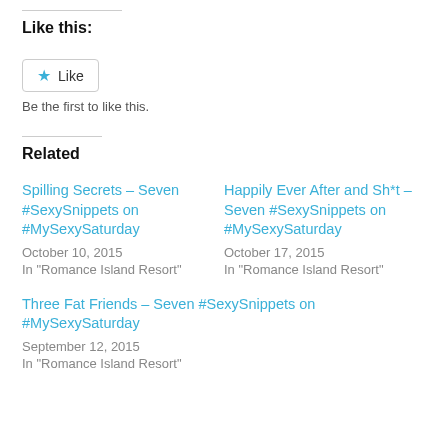Like this:
[Figure (other): Like button widget with star icon and 'Like' text, bordered button]
Be the first to like this.
Related
Spilling Secrets – Seven #SexySnippets on #MySexySaturday
October 10, 2015
In "Romance Island Resort"
Happily Ever After and Sh*t – Seven #SexySnippets on #MySexySaturday
October 17, 2015
In "Romance Island Resort"
Three Fat Friends – Seven #SexySnippets on #MySexySaturday
September 12, 2015
In "Romance Island Resort"